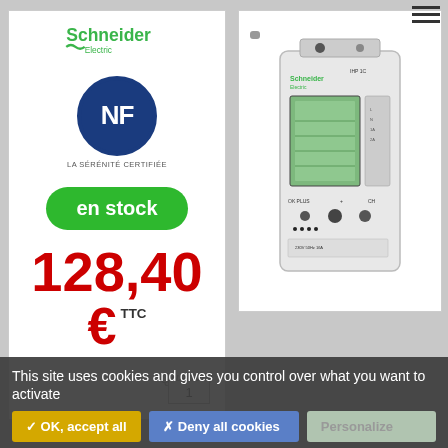[Figure (logo): Schneider Electric logo in green]
[Figure (logo): NF certification badge - blue circle with NF text, LA SÉRÉNITÉ CERTIFIÉE below]
en stock
128,40
€ TTC
[Figure (photo): Schneider Electric digital timer/time switch module on DIN rail, white device with LCD display and control buttons]
This site uses cookies and gives you control over what you want to activate
✓ OK, accept all
✗ Deny all cookies
Personalize
Quantité
1